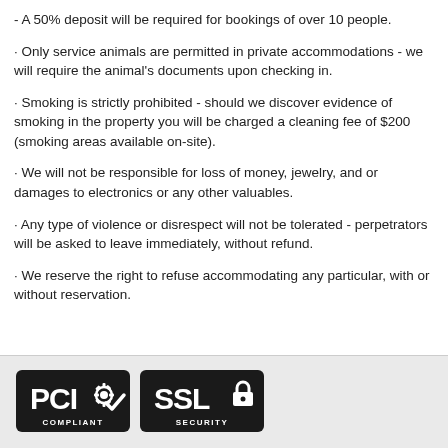- A 50% deposit will be required for bookings of over 10 people.
· Only service animals are permitted in private accommodations - we will require the animal's documents upon checking in.
· Smoking is strictly prohibited - should we discover evidence of smoking in the property you will be charged a cleaning fee of $200 (smoking areas available on-site).
· We will not be responsible for loss of money, jewelry, and or damages to electronics or any other valuables.
· Any type of violence or disrespect will not be tolerated - perpetrators will be asked to leave immediately, without refund.
· We reserve the right to refuse accommodating any particular, with or without reservation.
[Figure (logo): PCI Compliant and SSL Security badge logos on dark background in footer area]